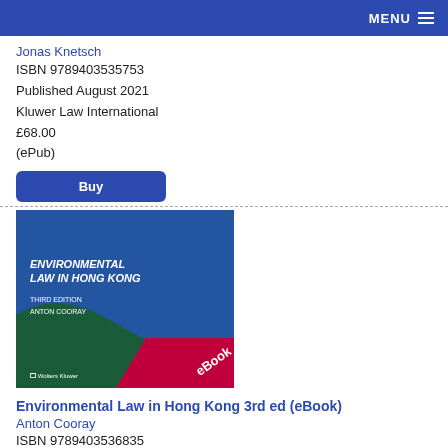MENU
Jonas Knetsch
ISBN 9789403535753
Published August 2021
Kluwer Law International
£68.00
(ePub)
Buy
[Figure (photo): Book cover of 'Environmental Law in Hong Kong Third Edition' by Anton Cooray, published by Wolters Kluwer, with an eBook badge. Blue and green cover design.]
Environmental Law in Hong Kong 3rd ed (eBook)
Anton Cooray
ISBN 9789403536835